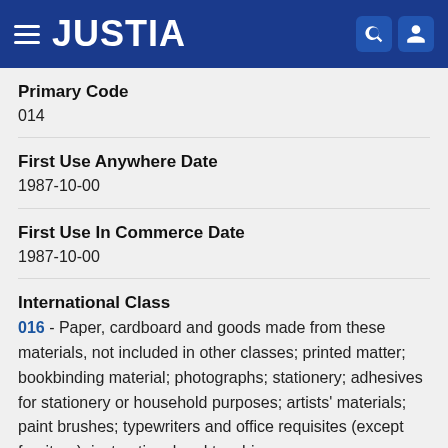JUSTIA
Primary Code
014
First Use Anywhere Date
1987-10-00
First Use In Commerce Date
1987-10-00
International Class
016 - Paper, cardboard and goods made from these materials, not included in other classes; printed matter; bookbinding material; photographs; stationery; adhesives for stationery or household purposes; artists' materials; paint brushes; typewriters and office requisites (except furniture); instructional and teaching